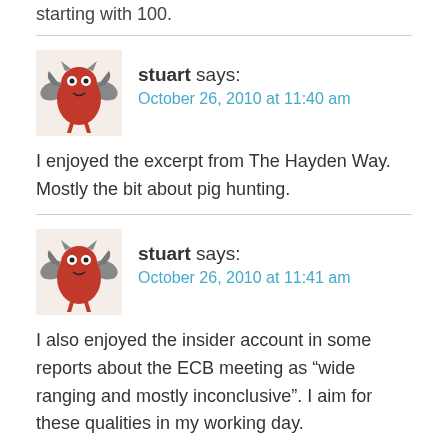starting with 100.
stuart says:
October 26, 2010 at 11:40 am
I enjoyed the excerpt from The Hayden Way. Mostly the bit about pig hunting.
stuart says:
October 26, 2010 at 11:41 am
I also enjoyed the insider account in some reports about the ECB meeting as “wide ranging and mostly inconclusive”. I aim for these qualities in my working day.